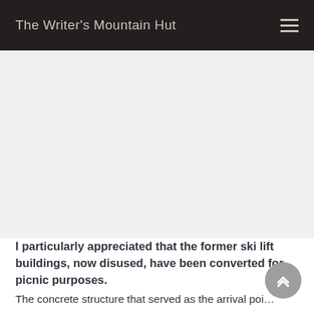The Writer's Mountain Hut
[Figure (photo): Large image area, appears mostly white/blank in this crop]
I particularly appreciated that the former ski lift buildings, now disused, have been converted for picnic purposes.
The concrete structure that served as the arrival poi...